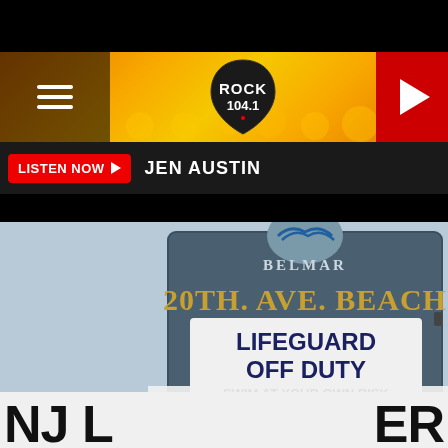[Figure (screenshot): Radio station website screenshot showing Rock 104.1 logo in orange header with hamburger menu left, red play button right, Listen Now button with Jen Austin text, and a Belmar 20th Ave Beach sign photo with Lifeguard Off Duty / Swim At Your Own Risk text]
LISTEN NOW  JEN AUSTIN
NJ ... ER